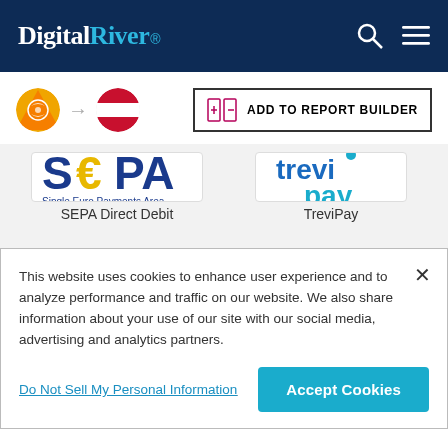Digital River
[Figure (logo): Country flags: Bhutan flag circle with arrow pointing to Austria flag circle, plus ADD TO REPORT BUILDER button]
[Figure (logo): SEPA - Single Euro Payments Area logo]
SEPA Direct Debit
[Figure (logo): TreviPay logo]
TreviPay
This website uses cookies to enhance user experience and to analyze performance and traffic on our website. We also share information about your use of our site with our social media, advertising and analytics partners.
Do Not Sell My Personal Information
Accept Cookies